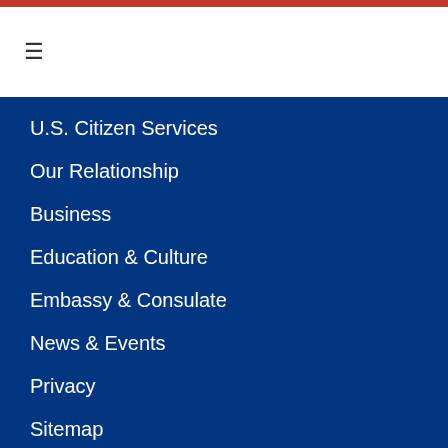U.S. Citizen Services
Our Relationship
Business
Education & Culture
Embassy & Consulate
News & Events
Privacy
Sitemap
U.S. EMBASSY
U.S. Embassy Hanoi
7 Lang Ha Street